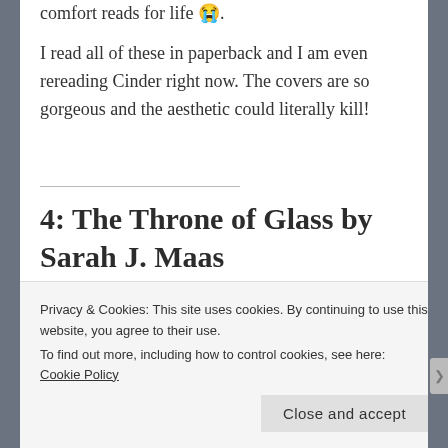comfort reads for life 😭.
I read all of these in paperback and I am even rereading Cinder right now. The covers are so gorgeous and the aesthetic could literally kill!
4: The Throne of Glass by Sarah J. Maas
[Figure (photo): Four book covers from the Throne of Glass series by Sarah J. Maas, showing fantasy artwork on blue, teal, orange/red, and green backgrounds]
Privacy & Cookies: This site uses cookies. By continuing to use this website, you agree to their use.
To find out more, including how to control cookies, see here: Cookie Policy